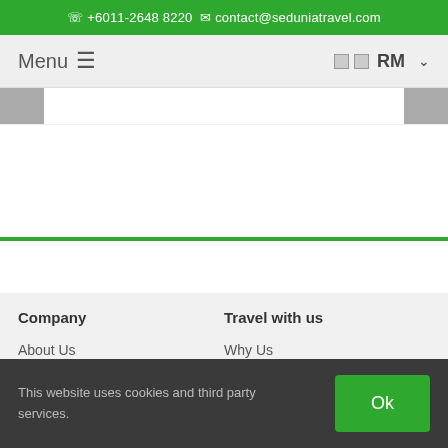+6011-2648 8220  contact@seduniatravel.com
Menu ≡
🏳🏳 RM ∨
[Figure (screenshot): Navigation slider buttons on left and right edges]
Company
Travel with us
About Us
Why Us
This website uses cookies and third party services.
Ok